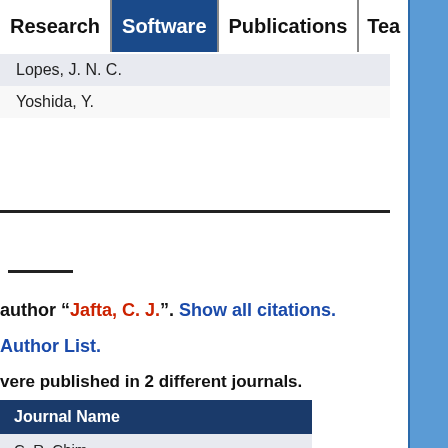Research | Software | Publications | Tea
| Lopes, J. N. C. |
| Yoshida, Y. |
author "Jafta, C. J.". Show all citations.
Author List.
were published in 2 different journals.
| Journal Name |
| --- |
| C. R. Chim. |
| J. Chem. Pl... |